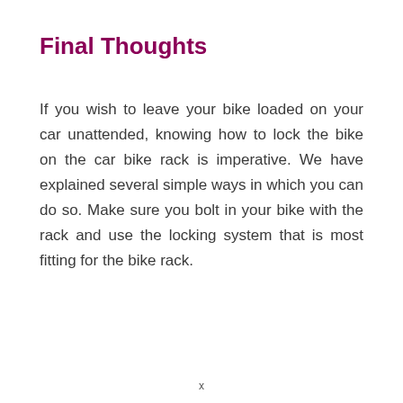Final Thoughts
If you wish to leave your bike loaded on your car unattended, knowing how to lock the bike on the car bike rack is imperative. We have explained several simple ways in which you can do so. Make sure you bolt in your bike with the rack and use the locking system that is most fitting for the bike rack.
x